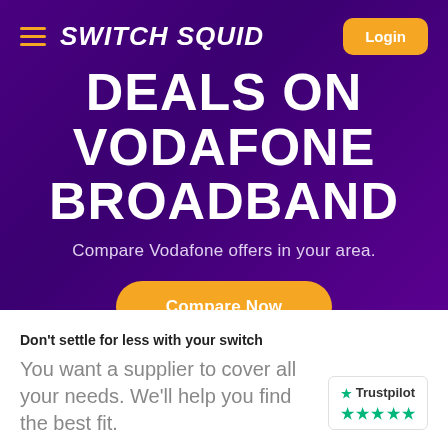Switch Squid
DEALS ON VODAFONE BROADBAND
Compare Vodafone offers in your area.
Compare Now
Don't settle for less with your switch
You want a supplier to cover all your needs. We'll help you find the best fit.
[Figure (logo): Trustpilot logo with 5 green stars rating badge]